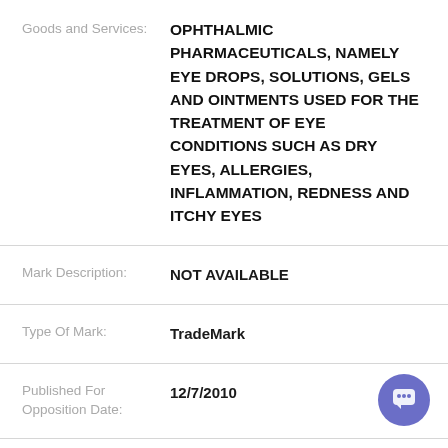| Field | Value |
| --- | --- |
| Goods and Services: | OPHTHALMIC PHARMACEUTICALS, NAMELY EYE DROPS, SOLUTIONS, GELS AND OINTMENTS USED FOR THE TREATMENT OF EYE CONDITIONS SUCH AS DRY EYES, ALLERGIES, INFLAMMATION, REDNESS AND ITCHY EYES |
| Mark Description: | NOT AVAILABLE |
| Type Of Mark: | TradeMark |
| Published For Opposition Date: | 12/7/2010 |
| Last Applicant/Owner: | BAUSCH & LOMB INCORPORATED |